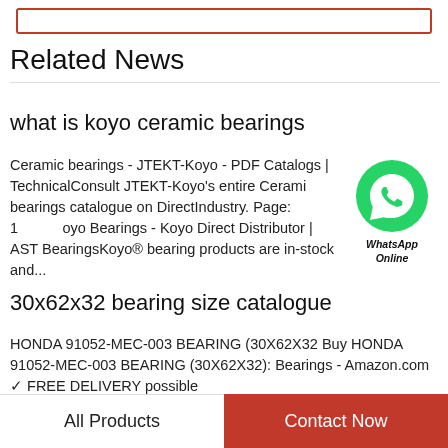Related News
what is koyo ceramic bearings
Ceramic bearings - JTEKT-Koyo - PDF Catalogs | TechnicalConsult JTEKT-Koyo's entire Ceramic bearings catalogue on DirectIndustry. Page: 1 Koyo Bearings - Koyo Direct Distributor | AST BearingsKoyo® bearing products are in-stock and...
[Figure (illustration): WhatsApp Online chat bubble icon with green circle and phone icon, labeled WhatsApp Online]
30x62x32 bearing size catalogue
HONDA 91052-MEC-003 BEARING (30X62X32 Buy HONDA 91052-MEC-003 BEARING (30X62X32): Bearings - Amazon.com ✓ FREE DELIVERY possible
All Products    Contact Now